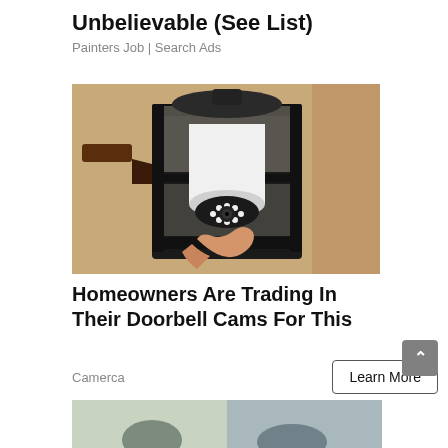Unbelievable (See List)
Painters Job | Search Ads
[Figure (photo): Photo of a person installing a camera-equipped light bulb into an outdoor wall lantern fixture mounted on a textured stucco wall]
Homeowners Are Trading In Their Doorbell Cams For This
Camerca
Learn More
[Figure (photo): Partial view of a bottom advertisement image, partially cut off]